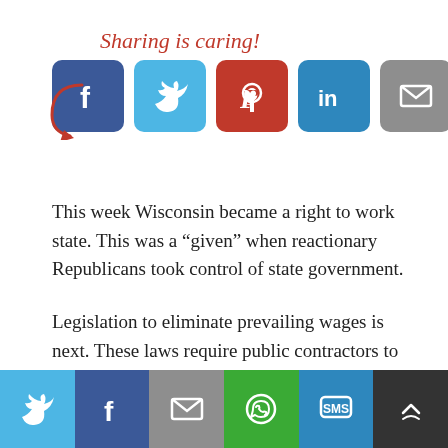[Figure (infographic): Sharing is caring! social share buttons: Facebook, Twitter, Pinterest, LinkedIn, Email, and a share/recirculate button with a curved red arrow pointing to the icons and text 'Sharing is caring!' in red italic serif font]
This week Wisconsin became a right to work state. This was a “given” when reactionary Republicans took control of state government.
Legislation to eliminate prevailing wages is next. These laws require public contractors to compete by having better management or efficiency, not just lower wages. This is another attack on unions and the public good.
[Figure (infographic): Bottom social sharing bar with Twitter, Facebook, Email, WhatsApp, SMS, and more options buttons]